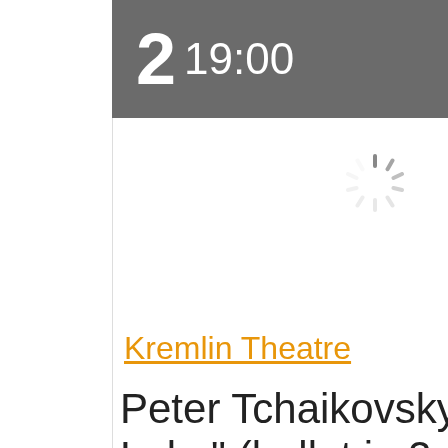2  19:00
[Figure (other): Loading spinner / activity indicator graphic in gray]
Kremlin Theatre
Peter Tchaikovsky "Sw... Lake" (ballet in 2 acts)